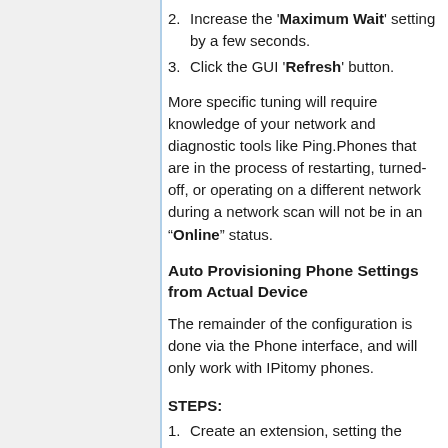2. Increase the 'Maximum Wait' setting by a few seconds.
3. Click the GUI 'Refresh' button.
More specific tuning will require knowledge of your network and diagnostic tools like Ping.Phones that are in the process of restarting, turned-off, or operating on a different network during a network scan will not be in an “Online” status.
Auto Provisioning Phone Settings from Actual Device
The remainder of the configuration is done via the Phone interface, and will only work with IPitomy phones.
STEPS:
1. Create an extension, setting the